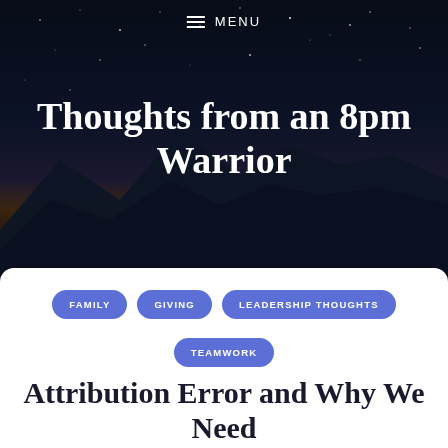[Figure (photo): Dark night sky with stars over mountain silhouette, with warm orange/brown horizon glow — hero background image for a blog called 'Thoughts from an 8pm Warrior']
MENU
Thoughts from an 8pm Warrior
FAMILY
GIVING
LEADERSHIP THOUGHTS
TEAMWORK
Attribution Error and Why We Need